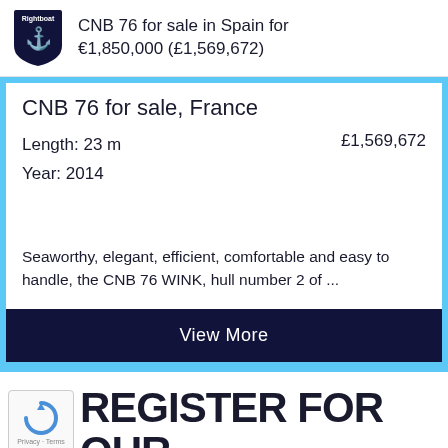CNB 76 for sale in Spain for €1,850,000 (£1,569,672)
CNB 76 for sale, France
Length: 23 m
Year: 2014
£1,569,672
Seaworthy, elegant, efficient, comfortable and easy to handle, the CNB 76 WINK, hull number 2 of ...
View More
REGISTER FOR OUR NEWSLETTER